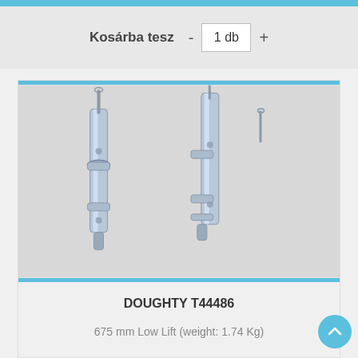Kosárba tesz  -  1 db  +
[Figure (photo): Two chrome/silver metal lift pins or spigots (DOUGHTY T44486) shown diagonally against a light grey background.]
DOUGHTY T44486
675 mm Low Lift (weight: 1.74 Kg)
43 980 Ft / db